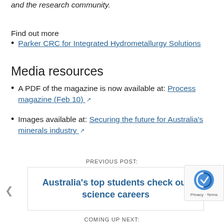and the research community.
Find out more
Parker CRC for Integrated Hydrometallurgy Solutions
Media resources
A PDF of the magazine is now available at: Process magazine (Feb 10)
Images available at: Securing the future for Australia's minerals industry
PREVIOUS POST:
Australia's top students check out science careers
COMING UP NEXT: